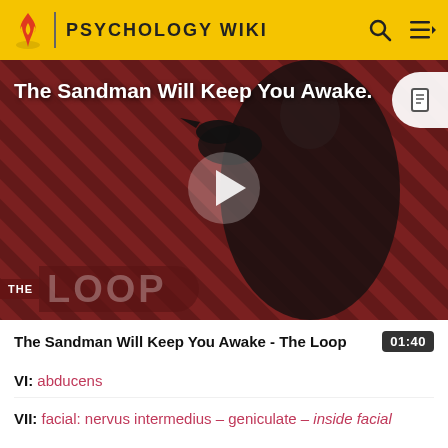PSYCHOLOGY WIKI
[Figure (screenshot): Video thumbnail showing a dark figure dressed in black with a crow/raven, against a red and black diagonal striped background. Text overlay reads 'The Sandman Will Keep You Awake.' with a play button in the center. 'THE LOOP' branding is visible at the bottom left.]
The Sandman Will Keep You Awake - The Loop  01:40
VI: abducens
VII: facial: nervus intermedius – geniculate – inside facial